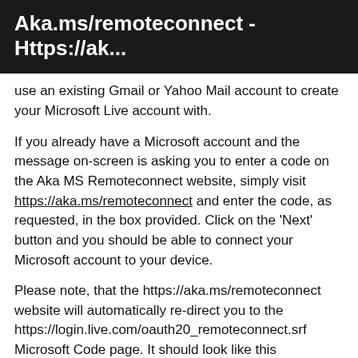Aka.ms/remoteconnect – Https://ak...
use an existing Gmail or Yahoo Mail account to create your Microsoft Live account with.
If you already have a Microsoft account and the message on-screen is asking you to enter a code on the Aka MS Remoteconnect website, simply visit https://aka.ms/remoteconnect and enter the code, as requested, in the box provided. Click on the 'Next' button and you should be able to connect your Microsoft account to your device.
Please note, that the https://aka.ms/remoteconnect website will automatically re-direct you to the https://login.live.com/oauth20_remoteconnect.srf Microsoft Code page. It should look like this screenshot. Enter your unique code, and click on "Next".
For instances where neither of those fixes worked, you may be dealing with corrupted game data. It is important to try